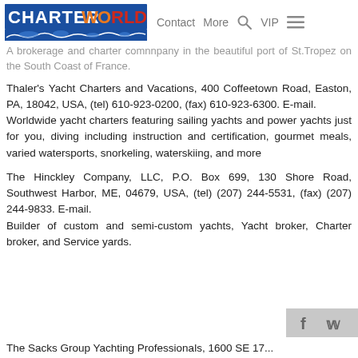CHARTERWORLD — Contact More VIP
A brokerage and charter comnnpany in the beautiful port of St.Tropez on the South Coast of France.
Thaler's Yacht Charters and Vacations, 400 Coffeetown Road, Easton, PA, 18042, USA, (tel) 610-923-0200, (fax) 610-923-6300. E-mail.
Worldwide yacht charters featuring sailing yachts and power yachts just for you, diving including instruction and certification, gourmet meals, varied watersports, snorkeling, waterskiing, and more
The Hinckley Company, LLC, P.O. Box 699, 130 Shore Road, Southwest Harbor, ME, 04679, USA, (tel) (207) 244-5531, (fax) (207) 244-9833. E-mail.
Builder of custom and semi-custom yachts, Yacht broker, Charter broker, and Service yards.
The Sacks Group Yachting Professionals, 1600 SE 17...